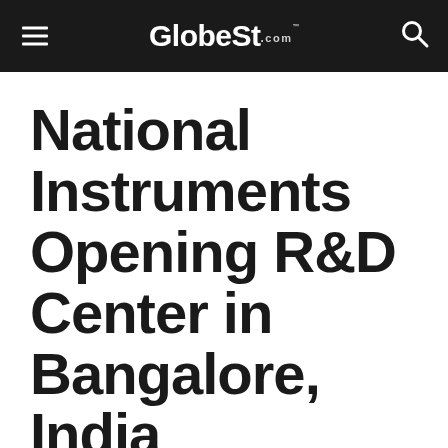GlobeSt.com
National Instruments Opening R&D Center in Bangalore, India